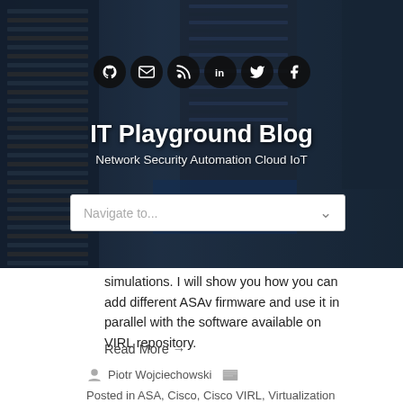[Figure (photo): Server rack datacenter background image used as blog header banner]
IT Playground Blog
Network Security Automation Cloud IoT
Navigate to...
simulations. I will show you how you can add different ASAv firmware and use it in parallel with the software available on VIRL repository.
Read More →
Piotr Wojciechowski  Posted in ASA, Cisco, Cisco VIRL, Virtualization
ASA, ASAv, Cisco, Cisco VIRL, VIRL
1 Comment